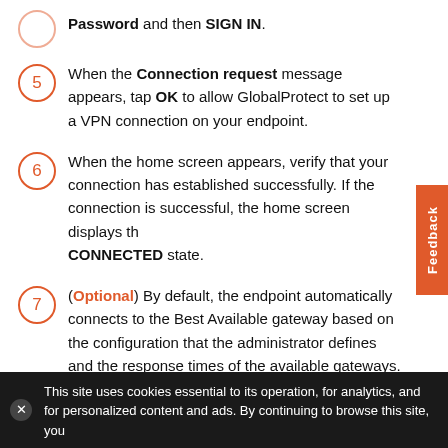Password and then SIGN IN.
5 When the Connection request message appears, tap OK to allow GlobalProtect to set up a VPN connection on your endpoint.
6 When the home screen appears, verify that your connection has established successfully. If the connection is successful, the home screen displays the CONNECTED state.
7 (Optional) By default, the endpoint automatically connects to the Best Available gateway based on the configuration that the administrator defines and the response times of the available gateways. To connect to a different gateway, tap the gateway drop-down at the bottom of the home screen, and then select a gateway from the list (external gateways only).
This site uses cookies essential to its operation, for analytics, and for personalized content and ads. By continuing to browse this site, you